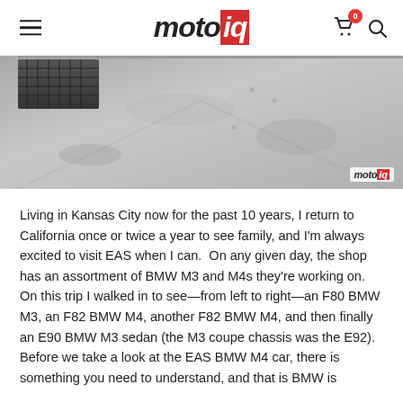motoiq
[Figure (photo): Interior photo of a garage/shop floor with a textured concrete surface. A dark metallic grate is visible in the upper left. The motoiq watermark appears in the lower right corner.]
Living in Kansas City now for the past 10 years, I return to California once or twice a year to see family, and I'm always excited to visit EAS when I can.  On any given day, the shop has an assortment of BMW M3 and M4s they're working on.  On this trip I walked in to see—from left to right—an F80 BMW M3, an F82 BMW M4, another F82 BMW M4, and then finally an E90 BMW M3 sedan (the M3 coupe chassis was the E92).
Before we take a look at the EAS BMW M4 car, there is something you need to understand, and that is BMW is